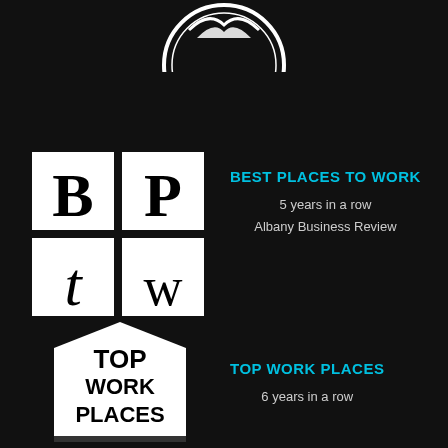[Figure (logo): Partial circular logo visible at top center of page]
[Figure (logo): Best Places to Work (BPtW) logo: four white squares arranged in 2x2 grid with letters B, P, t, W]
BEST PLACES TO WORK
5 years in a row
Albany Business Review
[Figure (logo): Top Work Places logo: white pentagon/badge shape with text TOP WORK PLACES in bold black]
TOP WORK PLACES
6 years in a row